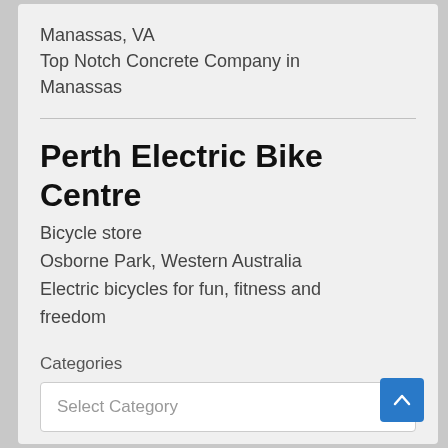Manassas, VA
Top Notch Concrete Company in Manassas
Perth Electric Bike Centre
Bicycle store
Osborne Park, Western Australia
Electric bicycles for fun, fitness and freedom
Categories
Select Category